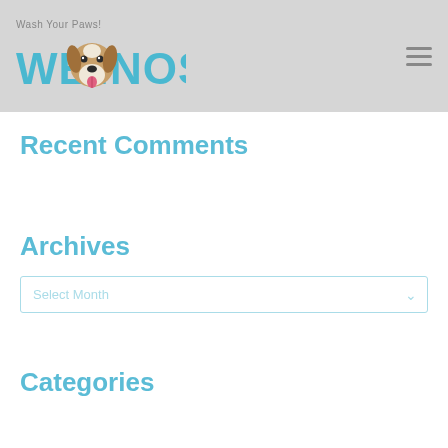Wash Your Paws! WET NOSE
Recent Comments
Archives
Select Month
Categories